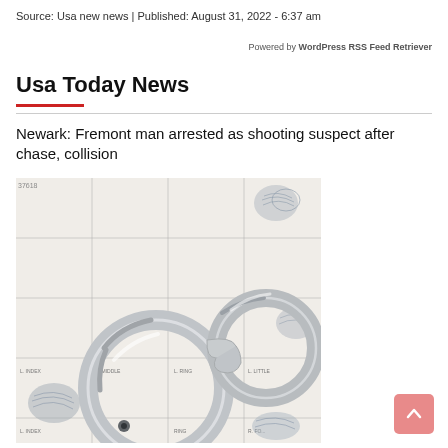Source: Usa new news | Published: August 31, 2022 - 6:37 am
Powered by WordPress RSS Feed Retriever
Usa Today News
Newark: Fremont man arrested as shooting suspect after chase, collision
[Figure (photo): Photo of metal handcuffs resting on a fingerprint card/booking sheet with multiple fingerprint impressions visible]